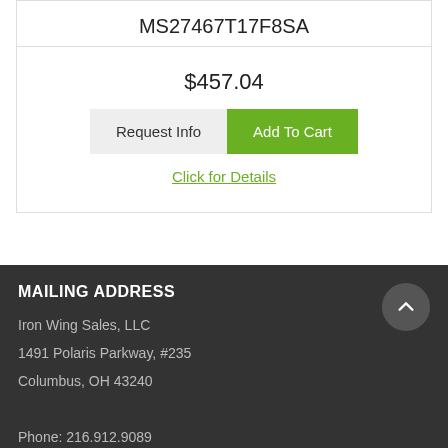MS27467T17F8SA
$457.04
Request Info | Add To Cart
Click for Details
MAILING ADDRESS
Iron Wing Sales, LLC
1491 Polaris Parkway, #235
Columbus, OH 43240

Phone: 216.912.9089